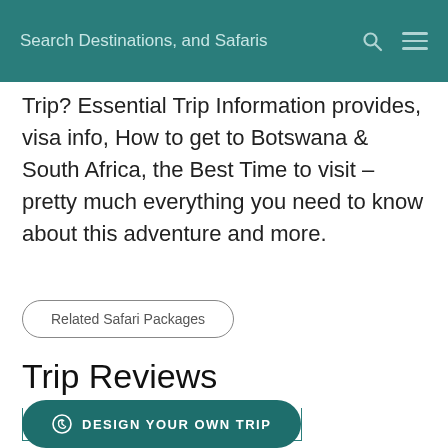Search Destinations, and Safaris
Trip? Essential Trip Information provides, visa info, How to get to Botswana & South Africa, the Best Time to visit – pretty much everything you need to know about this adventure and more.
Related Safari Packages
Trip Reviews
DESIGN YOUR OWN TRIP
Kabira Safaris and